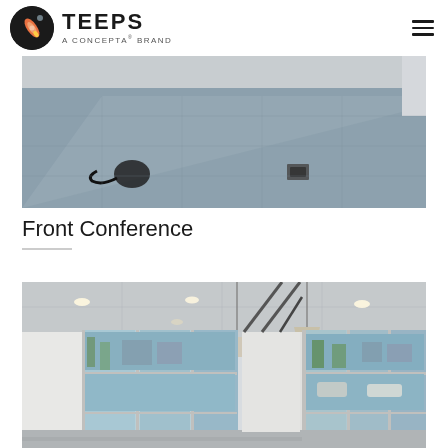TEEPS — A concepta BRAND
[Figure (photo): Interior photo showing a large empty room with gray carpet tiles, a cable on the floor, and a floor box insert.]
Front Conference
[Figure (photo): Interior photo of an empty conference room with large floor-to-ceiling windows, pendant lights, recessed lighting, and views of trees and buildings outside.]